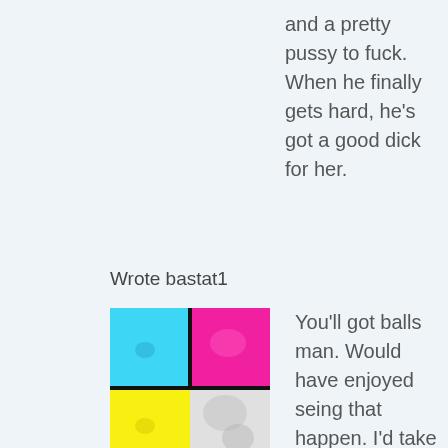and a pretty pussy to fuck. When he finally gets hard, he's got a good dick for her.
Wrote bastat1
[Figure (photo): A 2x2 grid avatar image with four quadrants: top-left cyan/blue, top-right magenta/pink, bottom-left yellow, bottom-right grayscale/white]
You'll got balls man. Would have enjoyed seing that happen. I'd take that